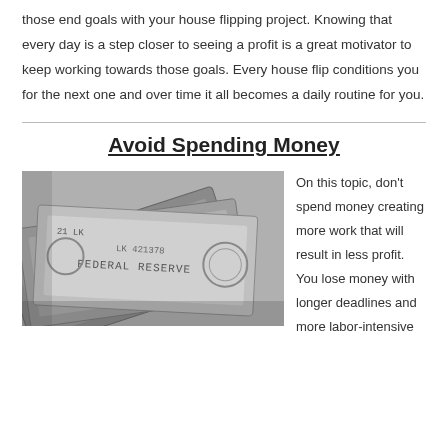those end goals with your house flipping project. Knowing that every day is a step closer to seeing a profit is a great motivator to keep working towards those goals. Every house flip conditions you for the next one and over time it all becomes a daily routine for you.
Avoid Spending Money
[Figure (photo): Black and white close-up photo of fanned-out US dollar bills showing Federal Reserve text and serial numbers]
On this topic, don't spend money creating more work that will result in less profit. You lose money with longer deadlines and more labor-intensive